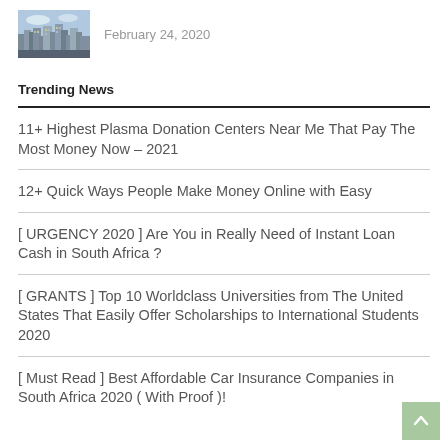[Figure (photo): City skyline photo thumbnail]
February 24, 2020
Trending News
11+ Highest Plasma Donation Centers Near Me That Pay The Most Money Now – 2021
12+ Quick Ways People Make Money Online with Easy
[ URGENCY 2020 ] Are You in Really Need of Instant Loan Cash in South Africa ?
[ GRANTS ] Top 10 Worldclass Universities from The United States That Easily Offer Scholarships to International Students 2020
[ Must Read ] Best Affordable Car Insurance Companies in South Africa 2020 ( With Proof )!